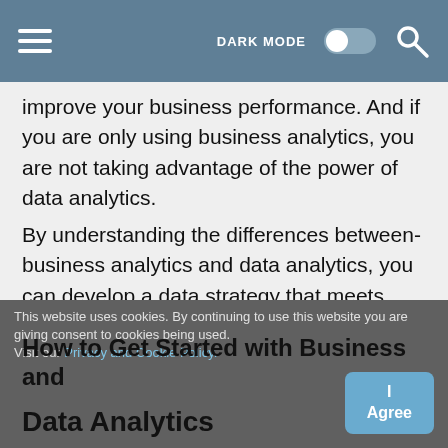DARK MODE [toggle] [search]
improve your business performance. And if you are only using business analytics, you are not taking advantage of the power of data analytics.
By understanding the differences between- business analytics and data analytics, you can develop a data strategy that meets your specific needs. You can use business analytics to track key metrics and make decisions about what to do next. And you can use data analytics to extract insights from your data and solve specific problems.
This website uses cookies. By continuing to use this website you are giving consent to cookies being used. Visit our Privacy and Cookie Policy.
How to Get Started with Business and Data Analytics